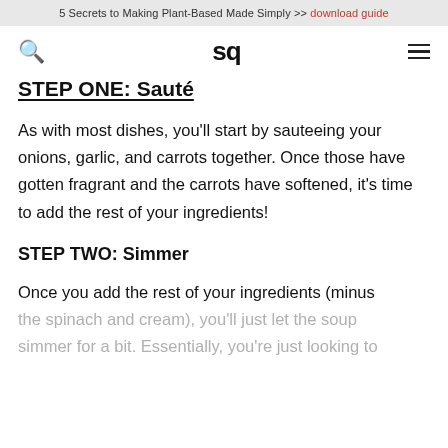5 Secrets to Making Plant-Based Made Simply >> download guide
STEP ONE: Sauté
As with most dishes, you'll start by sauteeing your onions, garlic, and carrots together. Once those have gotten fragrant and the carrots have softened, it's time to add the rest of your ingredients!
STEP TWO: Simmer
Once you add the rest of your ingredients (minus the spinach and cream), you'll just let the soup simmer for a bit. Essentially, you're just looking to